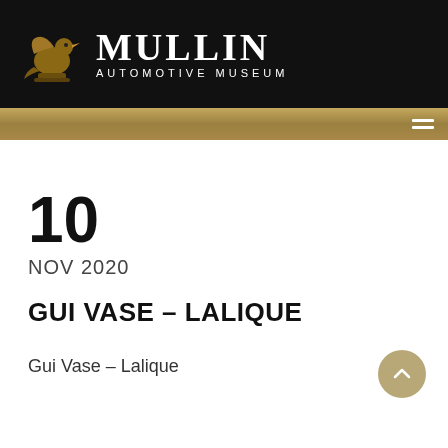[Figure (logo): Mullin Automotive Museum logo with stylized bird mascot and white text on black background]
10
NOV 2020
GUI VASE – LALIQUE
Gui Vase – Lalique